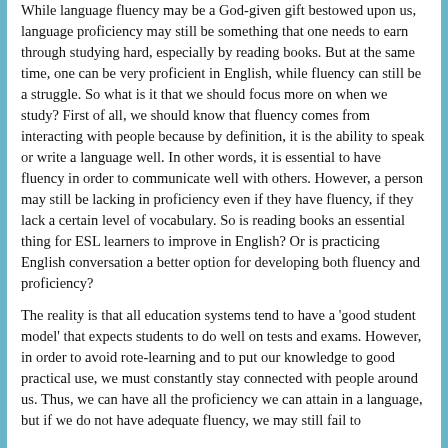While language fluency may be a God-given gift bestowed upon us, language proficiency may still be something that one needs to earn through studying hard, especially by reading books. But at the same time, one can be very proficient in English, while fluency can still be a struggle. So what is it that we should focus more on when we study? First of all, we should know that fluency comes from interacting with people because by definition, it is the ability to speak or write a language well. In other words, it is essential to have fluency in order to communicate well with others. However, a person may still be lacking in proficiency even if they have fluency, if they lack a certain level of vocabulary. So is reading books an essential thing for ESL learners to improve in English? Or is practicing English conversation a better option for developing both fluency and proficiency?
The reality is that all education systems tend to have a 'good student model' that expects students to do well on tests and exams. However, in order to avoid rote-learning and to put our knowledge to good practical use, we must constantly stay connected with people around us. Thus, we can have all the proficiency we can attain in a language, but if we do not have adequate fluency, we may still fail to